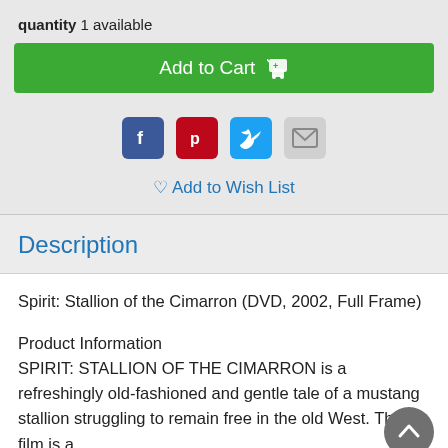quantity 1 available
Add to Cart
[Figure (other): Social share icons: Facebook, Pinterest, Twitter, Email]
Add to Wish List
Description
Spirit: Stallion of the Cimarron (DVD, 2002, Full Frame)
Product Information
SPIRIT: STALLION OF THE CIMARRON is a refreshingly old-fashioned and gentle tale of a mustang stallion struggling to remain free in the old West. The film is a